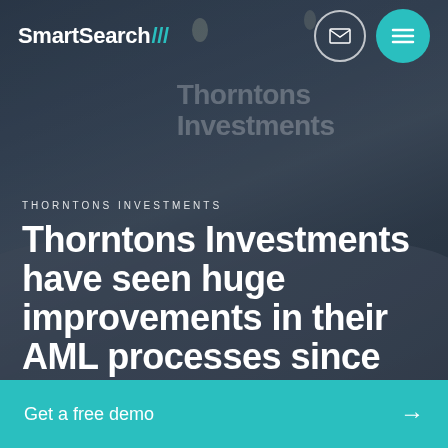[Figure (photo): Office reception area of Thorntons Investments with a curved desk and wall signage, overlaid with dark semi-transparent overlay. SmartSearch logo and navigation icons in the header.]
SmartSearch///
THORNTONS INVESTMENTS
Thorntons Investments have seen huge improvements in their AML processes since switching to SmartSearch
Get a free demo →